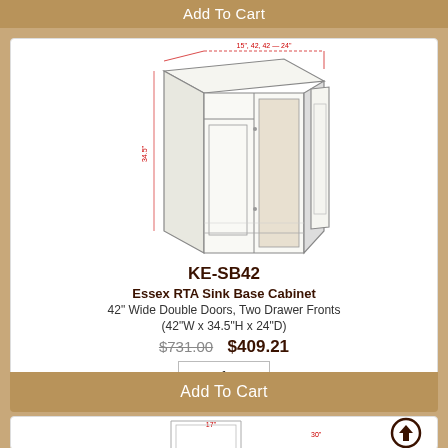Add To Cart
[Figure (illustration): Technical line drawing of KE-SB42 Essex RTA Sink Base Cabinet, a double-door cabinet with two drawer fronts, shown in 3D isometric view with dimensions labeled.]
KE-SB42
Essex RTA Sink Base Cabinet
42" Wide Double Doors, Two Drawer Fronts
(42"W x 34.5"H x 24"D)
$731.00   $409.21
1
Add To Cart
[Figure (illustration): Partial view of another cabinet product (narrow tall cabinet), with a circular scroll-to-top button in the bottom right corner.]